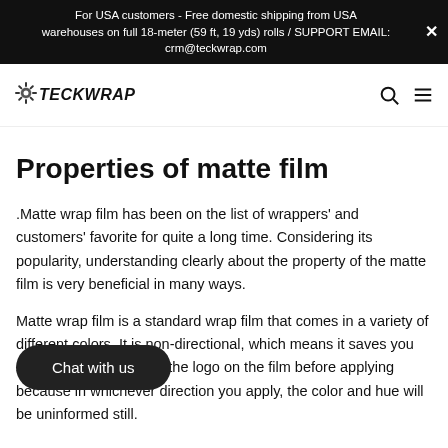For USA customers - Free domestic shipping from USA warehouses on full 18-meter (59 ft, 19 yds) rolls / SUPPORT EMAIL: crm@teckwrap.com
[Figure (logo): TeckWrap logo with gear/checkered flag icon and bold stylized text]
Properties of matte film
.Matte wrap film has been on the list of wrappers' and customers' favorite for quite a long time. Considering its popularity, understanding clearly about the property of the matte film is very beneficial in many ways.
Matte wrap film is a standard wrap film that comes in a variety of different colors. It is non-directional, which means it saves you some time on checking the logo on the film before applying because in whichever direction you apply, the color and hue will be uninformed still.